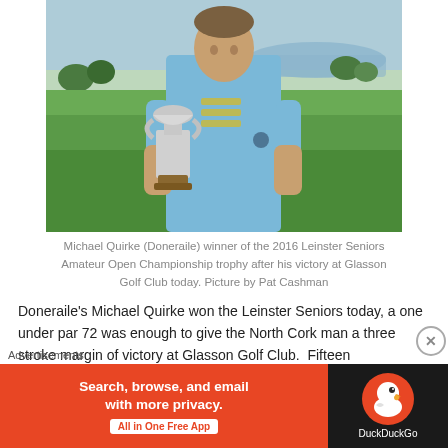[Figure (photo): Man in light blue polo shirt holding a large silver trophy cup, standing on a golf course with green fairway and lake in background]
Michael Quirke (Doneraile) winner of the 2016 Leinster Seniors Amateur Open Championship trophy after his victory at Glasson Golf Club today. Picture by Pat Cashman
Doneraile's Michael Quirke won the Leinster Seniors today, a one under par 72 was enough to give the North Cork man a three stroke margin of victory at Glasson Golf Club.  Fifteen
Advertisements
[Figure (screenshot): DuckDuckGo advertisement banner: orange left panel reading 'Search, browse, and email with more privacy. All in One Free App' with white button; dark right panel with DuckDuckGo duck logo and name]